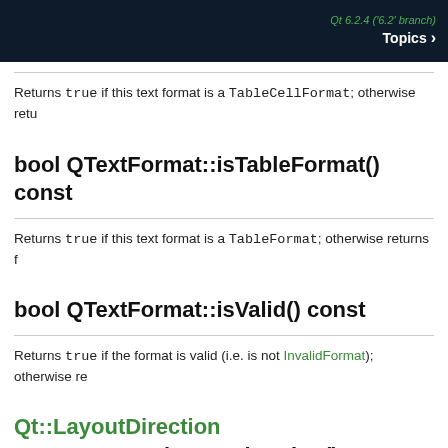Qt 6.2.4 ('6.2' branch)  Topics >
Returns true if this text format is a TableCellFormat; otherwise retu
bool QTextFormat::isTableFormat() const
Returns true if this text format is a TableFormat; otherwise returns f
bool QTextFormat::isValid() const
Returns true if the format is valid (i.e. is not InvalidFormat); otherwise re
Qt::LayoutDirection QTextFormat::layoutDirection()
Returns the document's layout direction.